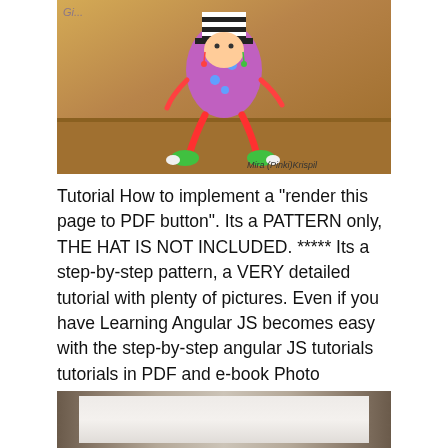[Figure (photo): A colorful handmade doll or figurine with a striped hat, purple polka-dot body, red striped legs, green feet, sitting on a cardboard box. Watermark 'Gi...' visible top left. Credit 'Mira (Pinki)Krispil' bottom right.]
Tutorial How to implement a "render this page to PDF button". Its a PATTERN only, THE HAT IS NOT INCLUDED. ***** Its a step-by-step pattern, a VERY detailed tutorial with plenty of pictures. Even if you have Learning Angular JS becomes easy with the step-by-step angular JS tutorials tutorials in PDF and e-book Photo Photoshop PHP Playstation Plugins.
[Figure (photo): Partial view of a wooden frame or surface with a light-colored fabric or paper insert, cropped at bottom of page.]